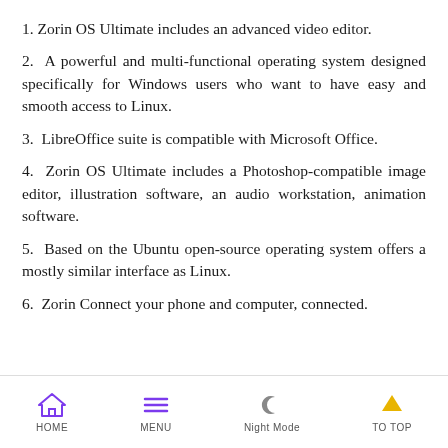1. Zorin OS Ultimate includes an advanced video editor.
2. A powerful and multi-functional operating system designed specifically for Windows users who want to have easy and smooth access to Linux.
3. LibreOffice suite is compatible with Microsoft Office.
4. Zorin OS Ultimate includes a Photoshop-compatible image editor, illustration software, an audio workstation, animation software.
5. Based on the Ubuntu open-source operating system offers a mostly similar interface as Linux.
6. Zorin Connect your phone and computer, connected.
HOME   MENU   Night Mode   TO TOP